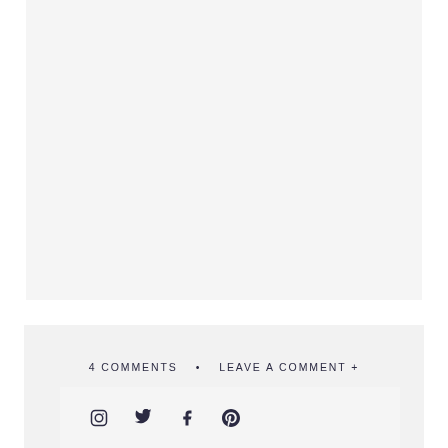[Figure (photo): Large image placeholder area with light gray background]
4 COMMENTS • LEAVE A COMMENT +
[Figure (other): Social media icons: Instagram, Twitter, Facebook, Pinterest]